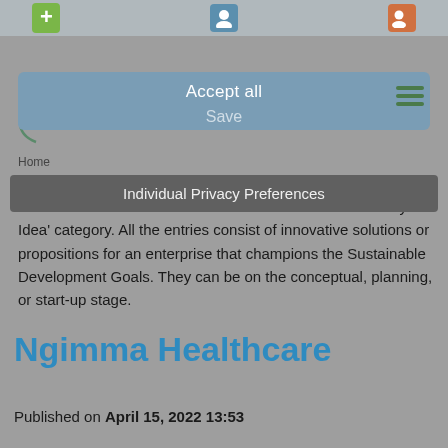[Figure (screenshot): Mobile app toolbar with plus, person, and add-person icons on a blue-grey background]
[Figure (screenshot): Accept all / Save cookie consent banner in blue-grey, with hamburger menu icon in green]
Entrepreneurship Campus
Home
Individual Privacy Preferences
Best Ideas from the idea entries submitted under 'Submit your Idea' category. All the entries consist of innovative solutions or propositions for an enterprise that champions the Sustainable Development Goals. They can be on the conceptual, planning, or start-up stage.
Ngimma Healthcare
Published on April 15, 2022 13:53